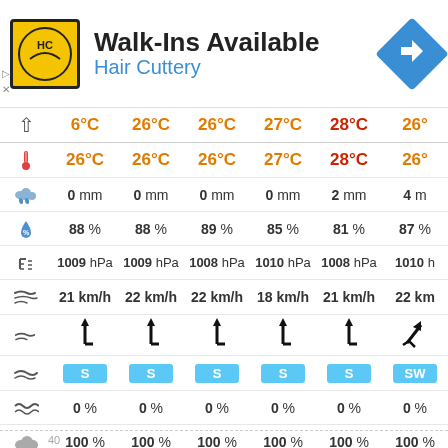[Figure (other): Hair Cuttery advertisement banner with HC logo, Walk-Ins Available text, and navigation arrow icon]
|  | Col1 | Col2 | Col3 | Col4 | Col5 | Col6 |
| --- | --- | --- | --- | --- | --- | --- |
| ↑ | 6°C | 26°C | 26°C | 27°C | 28°C | 26° |
| 🌡 | 26°C | 26°C | 26°C | 27°C | 28°C | 26° |
| 💧 | 0 mm | 0 mm | 0 mm | 0 mm | 2 mm | 4 mm |
| 💧% | 88 % | 88 % | 89 % | 85 % | 81 % | 87 % |
| hPa | 1009 hPa | 1009 hPa | 1008 hPa | 1010 hPa | 1008 hPa | 1010 h |
| wind | 21 km/h | 22 km/h | 22 km/h | 18 km/h | 21 km/h | 22 km |
| arrow | ↑ | ↑ | ↑ | ↑ | ↑ | ↗ |
| dir | S | S | S | S | S | SW |
| wave% | 0 % | 0 % | 0 % | 0 % | 0 % | 0 % |
| cloud% | 100 % | 100 % | 100 % | 100 % | 100 % | 100 % |
40